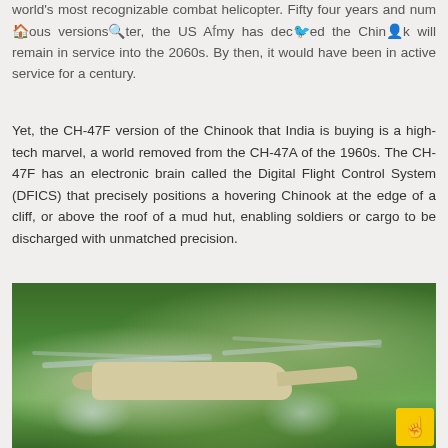world's most recognizable combat helicopter. Fifty four years and numerous versions later, the US Army has decided the Chinook will remain in service into the 2060s. By then, it would have been in active service for a century.
Yet, the CH-47F version of the Chinook that India is buying is a high-tech marvel, a world removed from the CH-47A of the 1960s. The CH-47F has an electronic brain called the Digital Flight Control System (DFICS) that precisely positions a hovering Chinook at the edge of a cliff, or above the roof of a mud hut, enabling soldiers or cargo to be discharged with unmatched precision.
[Figure (photo): A CH-47 Chinook helicopter flying low over dense green forest/trees, with rotor blur and downwash mist visible beneath the rotors. The helicopter appears in a tan/beige color scheme.]